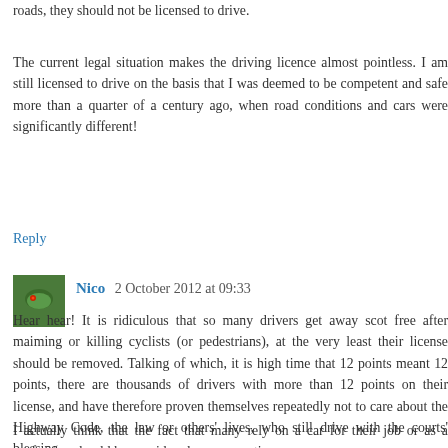roads, they should not be licensed to drive.
The current legal situation makes the driving licence almost pointless. I am still licensed to drive on the basis that I was deemed to be competent and safe more than a quarter of a century ago, when road conditions and cars were significantly different!
Reply
Nico  2 October 2012 at 09:33
Hear hear! It is ridiculous that so many drivers get away scot free after maiming or killing cyclists (or pedestrians), at the very least their license should be removed. Talking of which, it is high time that 12 points meant 12 points, there are thousands of drivers with more than 12 points on their license, and have therefore proven themselves repeatedly not to care about the Highway Code, the law or others' lives, who still drive with the courts' blessing.
I actually think that the fact that many rely on a car for their job or as a profession should be considered an aggravating